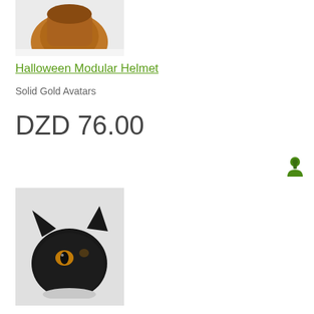[Figure (photo): Top portion of a Halloween modular helmet product image on white background]
Halloween Modular Helmet
Solid Gold Avatars
DZD 76.00
[Figure (illustration): Small green person/avatar icon]
[Figure (photo): Black cat head with orange eyes on white background]
Blk Cat Head Org Eyes
AAA Epic Collection